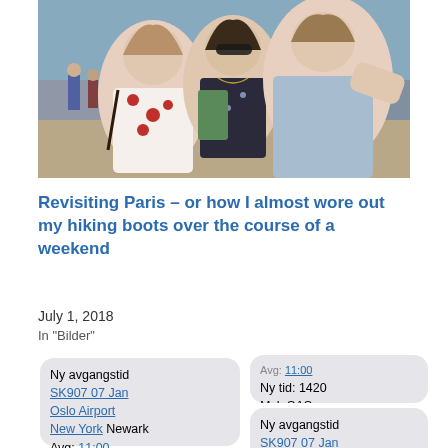[Figure (photo): Selfie of three people (two women and a man) outdoors on a sunny city street, possibly Paris. One woman wears a floral dress, another wears a dark floral top and sunglasses, and the man wears a light blue shirt.]
Revisiting Paris – or how I almost wore out my hiking boots over the course of a weekend
July 1, 2018
In "Bilder"
[Figure (screenshot): SMS message bubbles showing flight change notifications from SAS. Left bubble: 'Ny avgangstid SK907 07 Jan Oslo Airport New York Newark Avg: 11:00 Ny tid: 1140 Mvh SAS'. Right top partial bubble: 'Avg: [time] Ny tid: 1420 Mvh SAS'. Right bottom bubble: 'Ny avgangstid SK907 07 Jan Oslo Airport New York Newark Avg: 11:00 Ny info: 1500'. Left bottom partial bubble: 'Ny avgangstid [cut off]'.]